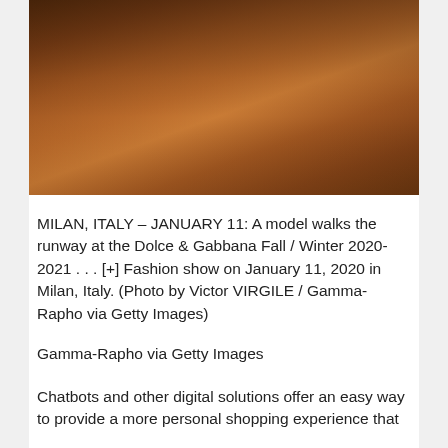[Figure (photo): Close-up photo of a model wearing a brown leather jacket over a brown turtleneck sweater, from the Dolce & Gabbana Fall/Winter 2020-2021 fashion show]
MILAN, ITALY – JANUARY 11: A model walks the runway at the Dolce & Gabbana Fall / Winter 2020-2021 . . . [+] Fashion show on January 11, 2020 in Milan, Italy. (Photo by Victor VIRGILE / Gamma-Rapho via Getty Images)
Gamma-Rapho via Getty Images
Chatbots and other digital solutions offer an easy way to provide a more personal shopping experience that